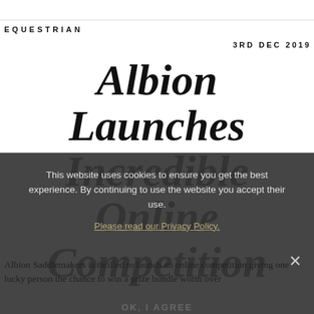EQUESTRIAN
3RD DEC 2019
Albion Launches Incredible Online Competition
This website uses cookies to ensure you get the best experience. By continuing to use the website you accept their use.
Please read our Privacy Policy.
Albion Saddlemakers is thrilled to launch an online competition giving one lucky person the chance to win a prize bundle worth over...